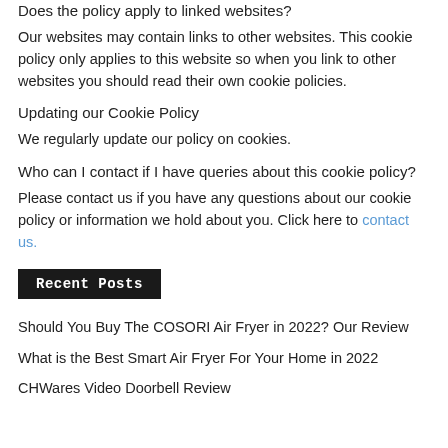Does the policy apply to linked websites?
Our websites may contain links to other websites. This cookie policy only applies to this website so when you link to other websites you should read their own cookie policies.
Updating our Cookie Policy
We regularly update our policy on cookies.
Who can I contact if I have queries about this cookie policy?
Please contact us if you have any questions about our cookie policy or information we hold about you. Click here to contact us.
Recent Posts
Should You Buy The COSORI Air Fryer in 2022? Our Review
What is the Best Smart Air Fryer For Your Home in 2022
CHWares Video Doorbell Review